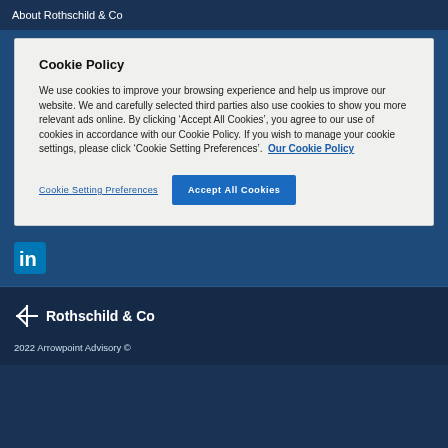About Rothschild & Co
Cookie Policy
We use cookies to improve your browsing experience and help us improve our website. We and carefully selected third parties also use cookies to show you more relevant ads online. By clicking ‘Accept All Cookies’, you agree to our use of cookies in accordance with our Cookie Policy. If you wish to manage your cookie settings, please click ‘Cookie Setting Preferences’.  Our Cookie Policy
Cookie Setting Preferences    Accept All Cookies
[Figure (logo): LinkedIn logo in white on dark blue background]
[Figure (logo): Rothschild & Co logo with asterisk/snowflake symbol in white on dark navy background]
2022 Arrowpoint Advisory ©